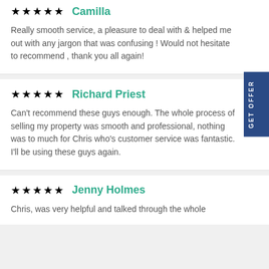★★★★★  Camilla
Really smooth service, a pleasure to deal with & helped me out with any jargon that was confusing ! Would not hesitate to recommend , thank you all again!
★★★★★  Richard Priest
Can't recommend these guys enough. The whole process of selling my property was smooth and professional, nothing was to much for Chris who's customer service was fantastic. I'll be using these guys again.
★★★★★  Jenny Holmes
Chris, was very helpful and talked through the whole